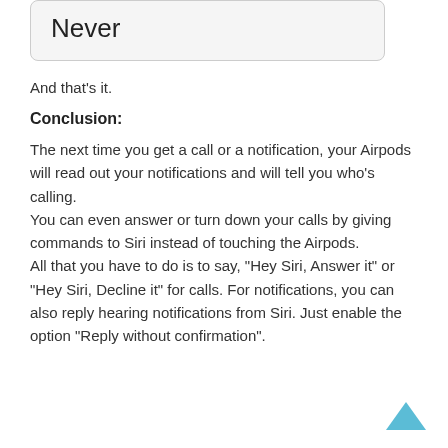[Figure (other): A rounded rectangle UI box containing the word 'Never']
And that’s it.
Conclusion:
The next time you get a call or a notification, your Airpods will read out your notifications and will tell you who’s calling.
You can even answer or turn down your calls by giving commands to Siri instead of touching the Airpods.
All that you have to do is to say, “Hey Siri, Answer it” or “Hey Siri, Decline it” for calls. For notifications, you can also reply hearing notifications from Siri. Just enable the option “Reply without confirmation”.